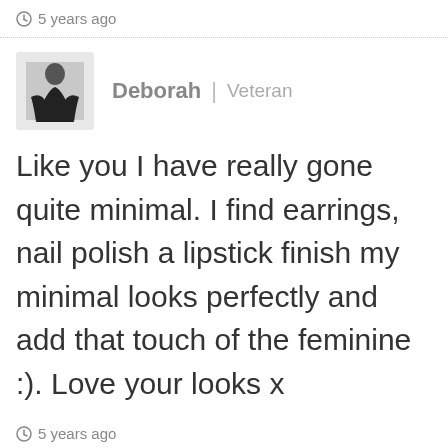5 years ago
Deborah | Veteran
Like you I have really gone quite minimal. I find earrings, nail polish a lipstick finish my minimal looks perfectly and add that touch of the feminine :). Love your looks x
5 years ago